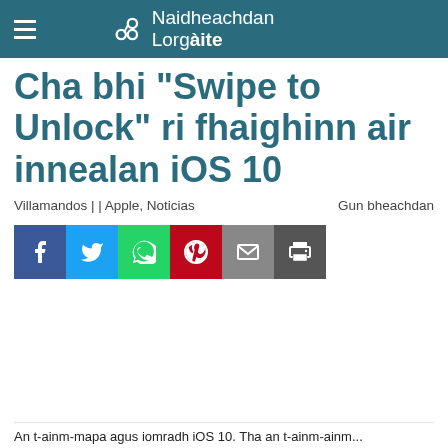Naidheachdan Lorgàite
Cha bhi "Swipe to Unlock" ri fhaighinn air innealan iOS 10
Villamandos | | Apple, Noticias    Gun bheachdan
[Figure (other): Social share buttons: Facebook, Twitter, WhatsApp, Pinterest, Email, Print]
An t-ainm-mapa agus iomradh iOS 10. Tha an t-ainm-...